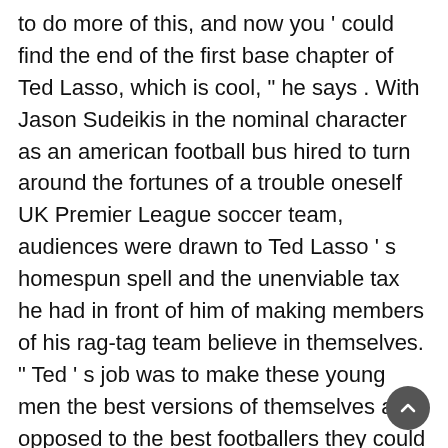to do more of this, and now you ' could find the end of the first base chapter of Ted Lasso, which is cool, " he says . With Jason Sudeikis in the nominal character as an american football bus hired to turn around the fortunes of a trouble oneself UK Premier League soccer team, audiences were drawn to Ted Lasso ' s homespun spell and the unenviable tax he had in front of him of making members of his rag-tag team believe in themselves. " Ted ' s job was to make these young men the best versions of themselves as opposed to the best footballers they could be, " says Jimoh . Jimoh feels Sam ' s travel in the first two seasons is like a Ted Lasso case survey. When we inaugural meet him in the early episodes, " he ' s this 21-year-old nigerian child who ' randomness fair come to London. He hasn ' metric ton found himself yet. He ' sulfur being bullied by the star actor of the team ; he ' s not playing well and nothing ' sulfur going well for him. But by the end of the second season he ' south